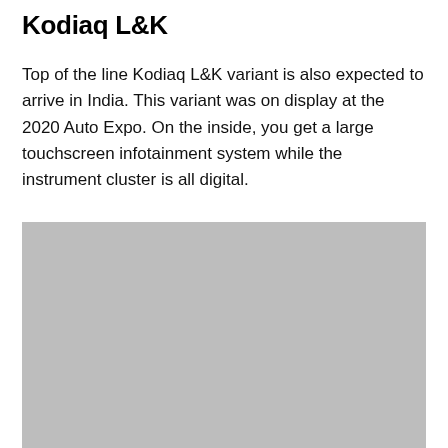Kodiaq L&K
Top of the line Kodiaq L&K variant is also expected to arrive in India. This variant was on display at the 2020 Auto Expo. On the inside, you get a large touchscreen infotainment system while the instrument cluster is all digital.
[Figure (photo): Gray placeholder image of Kodiaq L&K variant]